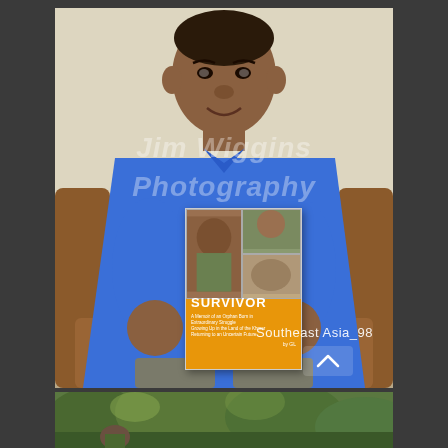[Figure (photo): An elderly Southeast Asian man seated in a brown leather chair wearing a blue short-sleeve shirt and gray trousers. He holds up a book titled 'SURVIVOR' with an orange cover. A watermark reading 'Jim Wiggins Photography' is overlaid on the image. The text 'Southeast Asia_98' appears in the lower right of the photo. Below the main photo is a partial strip of a second photo showing green outdoor scenery.]